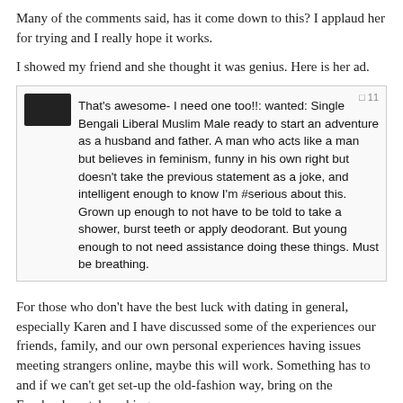Many of the comments said, has it come down to this?  I applaud her for trying and I really hope it works.
I showed my friend and she thought it was genius.  Here is her ad.
[Figure (screenshot): A screenshot of a Facebook comment: 'That's awesome- I need one too!!: wanted: Single Bengali Liberal Muslim Male ready to start an adventure as a husband and father. A man who acts like a man but believes in feminism, funny in his own right but doesn't take the previous statement as a joke, and intelligent enough to know I'm #serious about this. Grown up enough to not have to be told to take a shower, burst teeth or apply deodorant. But young enough to not need assistance doing these things. Must be breathing.' with a like counter showing '11'.]
For those who don't have the best luck with dating in general, especially Karen and I have discussed some of the experiences our friends, family, and our own personal experiences having issues meeting strangers online, maybe this will work.  Something has to and if we can't get set-up the old-fashion way, bring on the Facebook match-making.
Unfortunately, I have no one in my network that meets either of their qualifications, but hopefully someone else will because both are